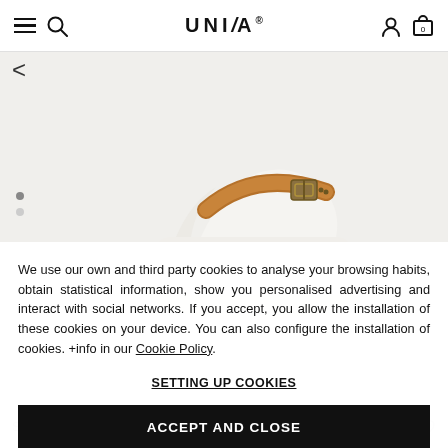UNISA
[Figure (photo): White platform sandal with tan/brown leather ankle strap and metal buckle, shown on a light background]
We use our own and third party cookies to analyse your browsing habits, obtain statistical information, show you personalised advertising and interact with social networks. If you accept, you allow the installation of these cookies on your device. You can also configure the installation of cookies. +info in our Cookie Policy.
SETTING UP COOKIES
ACCEPT AND CLOSE
Sandal with wood block effect  115.00 € 99.90 € 10%